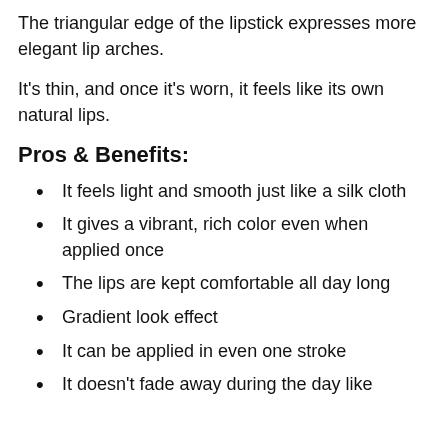The triangular edge of the lipstick expresses more elegant lip arches.
It's thin, and once it's worn, it feels like its own natural lips.
Pros & Benefits:
It feels light and smooth just like a silk cloth
It gives a vibrant, rich color even when applied once
The lips are kept comfortable all day long
Gradient look effect
It can be applied in even one stroke
It doesn't fade away during the day like